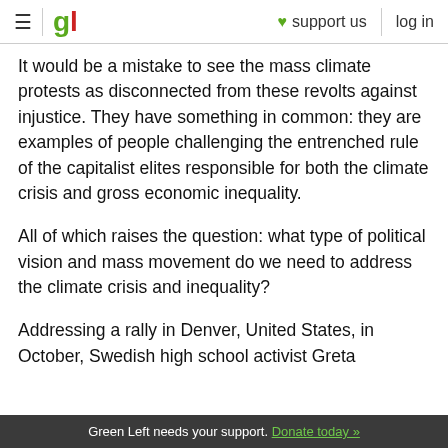≡ | gl ♥ support us  log in
It would be a mistake to see the mass climate protests as disconnected from these revolts against injustice. They have something in common: they are examples of people challenging the entrenched rule of the capitalist elites responsible for both the climate crisis and gross economic inequality.
All of which raises the question: what type of political vision and mass movement do we need to address the climate crisis and inequality?
Addressing a rally in Denver, United States, in October, Swedish high school activist Greta
Green Left needs your support. Donate today »